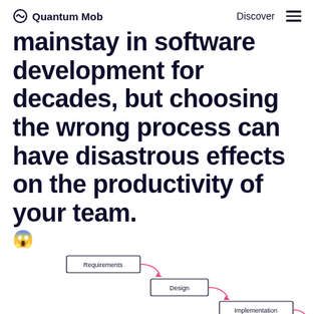Quantum Mob  Discover
mainstay in software development for decades, but choosing the wrong process can have disastrous effects on the productivity of your team.
[Figure (flowchart): Waterfall diagram showing sequential steps: Requirements → Design → Implementation → Testing → Support, each step cascading downward with pink arrows]
[Figure (other): Blue circular chat button with speech bubble icon in bottom right corner]